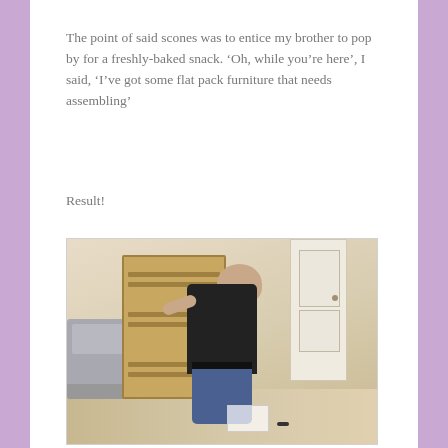The point of said scones was to entice my brother to pop by for a freshly-baked snack. ‘Oh, while you’re here’, I said, ‘I’ve got some flat pack furniture that needs assembling’
Result!
[Figure (photo): A person in a black t-shirt and jeans bent over assembling a wooden wine rack / flat pack furniture unit on the floor of a living room. A sofa is visible on the left side. Tools and instructions are on the floor.]